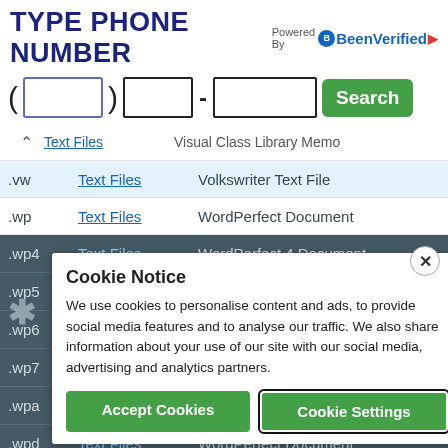TYPE PHONE NUMBER
[Figure (logo): BeenVerified logo with 'Powered By' text]
[Figure (screenshot): Phone number input fields with area code box, middle box, dash, last box, and green Search button]
| Extension | Type | Description |
| --- | --- | --- |
|  | Text Files | Visual Class Library Memo |
| .vw | Text Files | Volkswriter Text File |
| .wp | Text Files | WordPerfect Document |
| .wp4 | Text Files | WordPerfect 4 Document |
| .wp5 | Text Files | WordPerfect 5 Document |
| .wp6 | Text Files | WordPerfect 6 Document |
| .wp7 | Text Files | WordPerfect 7 Document |
| .wpa | Text Files |  |
| .wpd | Text Files | WordPerfect Document |
| .wpt | Text Files | WordPerfect Template |
| .wri | Text Files | d |
| .wsd | Text Files | WordStar Document |
| .wtx | Text Files | Text Document |
Cookie Notice
We use cookies to personalise content and ads, to provide social media features and to analyse our traffic. We also share information about your use of our site with our social media, advertising and analytics partners.
Accept Cookies
Cookie Settings